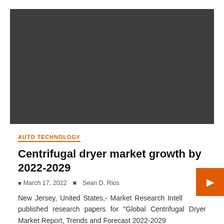[Figure (photo): Dark grey/black rectangular image placeholder at top of article page]
AUTO TECHNOLOGY
Centrifugal dryer market growth by 2022-2029
March 17, 2022  Sean D. Rios
New Jersey, United States,- Market Research Intell published research papers for "Global Centrifugal Dryer Market Report, Trends and Forecast 2022-2029